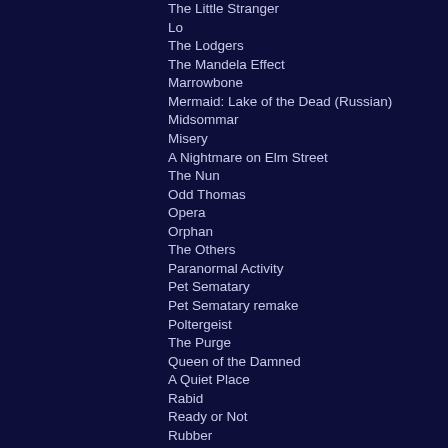The Little Stranger
Lo
The Lodgers
The Mandela Effect
Marrowbone
Mermaid: Lake of the Dead (Russian)
Midsommar
Misery
A Nightmare on Elm Street
The Nun
Odd Thomas
Opera
Orphan
The Others
Paranormal Activity
Pet Sematary
Pet Sematary remake
Poltergeist
The Purge
Queen of the Damned
A Quiet Place
Rabid
Ready or Not
Rubber
Rosemary’s Baby
Salem's Lot
Saw
Shark Exorcist (Just don't ...)
Sinister
Slice (Definitely more comedy than horror)
The Stuff